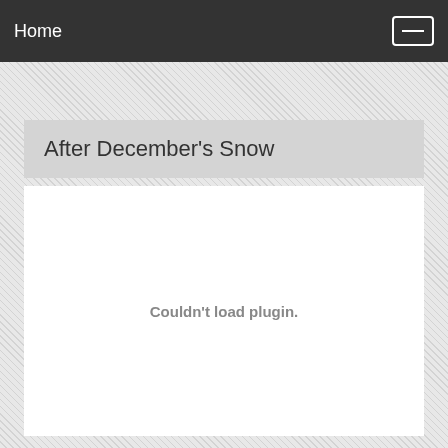Home
After December's Snow
Couldn't load plugin.